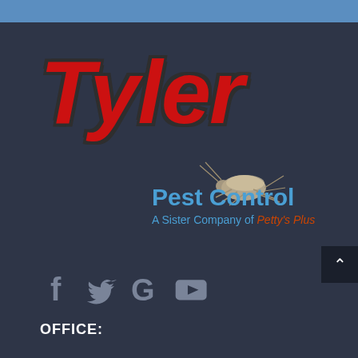[Figure (logo): Tyler Pest Control logo — large red bold italic 'Tyler' text with dark outline, a cockroach illustration, 'Pest Control' in blue, and 'A Sister Company of Petty's Plus' tagline below]
[Figure (infographic): Social media icons row: Facebook (f), Twitter bird, Google (G), YouTube play button — all in muted grey on dark background]
OFFICE: